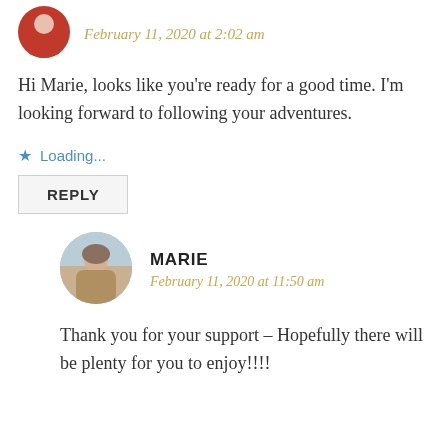[Figure (photo): Circular avatar photo of a person in red]
February 11, 2020 at 2:02 am
Hi Marie, looks like you’re ready for a good time. I’m looking forward to following your adventures.
★ Loading...
REPLY
[Figure (photo): Circular avatar photo of Marie at a beach]
MARIE
February 11, 2020 at 11:50 am
Thank you for your support – Hopefully there will be plenty for you to enjoy!!!!